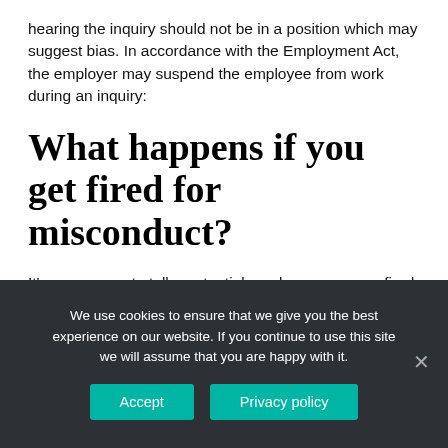hearing the inquiry should not be in a position which may suggest bias. In accordance with the Employment Act, the employer may suspend the employee from work during an inquiry:
What happens if you get fired for misconduct?
It's never easy to tell a potential employer you were fired; it's an even greater challenge if the termination was related to professional misconduct. You might be embarrassed, ashamed or determined
We use cookies to ensure that we give you the best experience on our website. If you continue to use this site we will assume that you are happy with it.